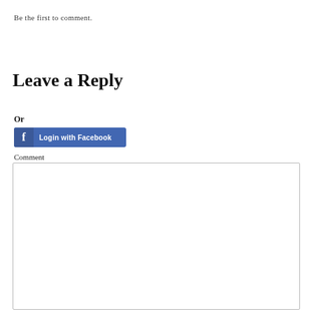Be the first to comment.
Leave a Reply
Or
[Figure (screenshot): Login with Facebook button with Facebook 'f' icon on a blue background]
Comment
[Figure (screenshot): Empty comment text area input box with light gray border]